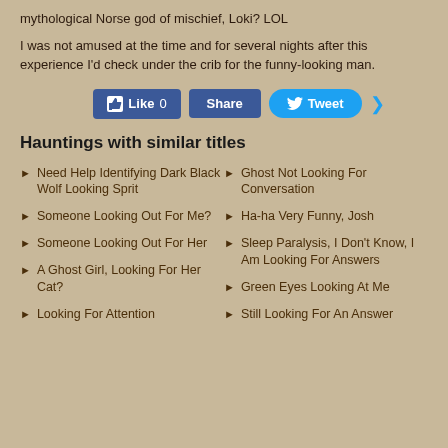mythological Norse god of mischief, Loki? LOL
I was not amused at the time and for several nights after this experience I'd check under the crib for the funny-looking man.
[Figure (other): Social media buttons: Like 0, Share, Tweet]
Hauntings with similar titles
Need Help Identifying Dark Black Wolf Looking Sprit
Someone Looking Out For Me?
Someone Looking Out For Her
A Ghost Girl, Looking For Her Cat?
Looking For Attention
Ghost Not Looking For Conversation
Ha-ha Very Funny, Josh
Sleep Paralysis, I Don't Know, I Am Looking For Answers
Green Eyes Looking At Me
Still Looking For An Answer